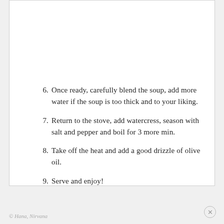6. Once ready, carefully blend the soup, add more water if the soup is too thick and to your liking.
7. Return to the stove, add watercress, season with salt and pepper and boil for 3 more min.
8. Take off the heat and add a good drizzle of olive oil.
9. Serve and enjoy!
© Hana, Nirvana